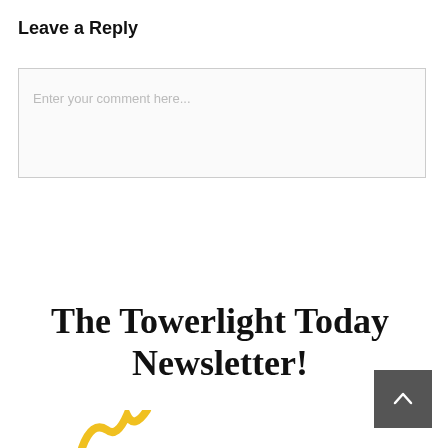Leave a Reply
Enter your comment here...
The Towerlight Today Newsletter!
[Figure (other): Scroll-to-top button, dark grey square with upward chevron arrow icon]